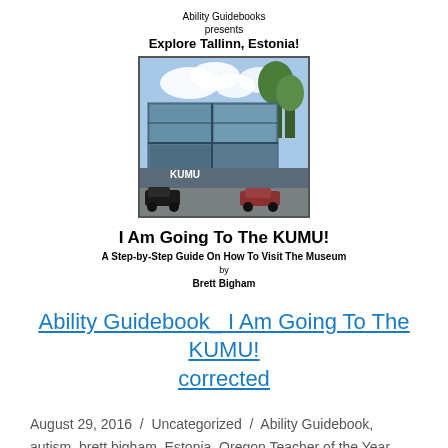Ability Guidebooks presents Explore Tallinn, Estonia!
[Figure (photo): Cover of a guidebook showing a modern glass museum building (KUMU) with cars and trees, titled 'I Am Going To The KUMU! A Step-by-Step Guide On How To Visit The Museum by Brett Bigham']
Ability Guidebook_ I Am Going To The KUMU! corrected
August 29, 2016 / Uncategorized / Ability Guidebook, autism, brett bigham, Estonia, Oregon Teacher of the Year, supports, Tallinn, tourist / Leave a comment